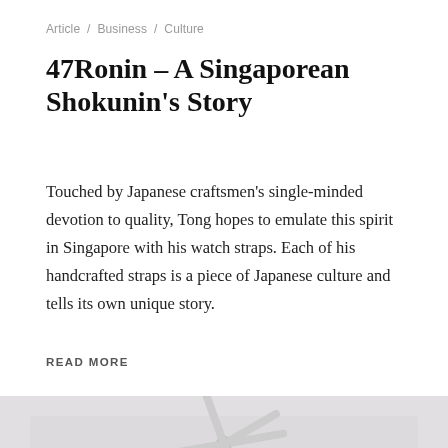Article / Business / Culture
47Ronin – A Singaporean Shokunin's Story
Touched by Japanese craftsmen's single-minded devotion to quality, Tong hopes to emulate this spirit in Singapore with his watch straps. Each of his handcrafted straps is a piece of Japanese culture and tells its own unique story.
READ MORE
[Figure (photo): A family photo inside a home with a ceiling fan and mauve curtains. A man in red shirt stands with a woman and two children. A video play button overlay is shown in the center.]